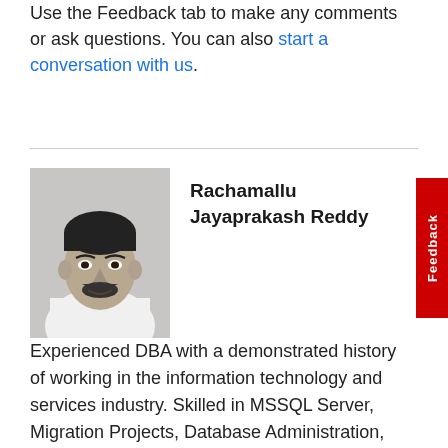Use the Feedback tab to make any comments or ask questions. You can also start a conversation with us.
[Figure (photo): Black and white portrait photo of Rachamallu Jayaprakash Reddy]
Rachamallu Jayaprakash Reddy
Experienced DBA with a demonstrated history of working in the information technology and services industry. Skilled in MSSQL Server, Migration Projects, Database Administration, High Availability Techniques and Performance Tuning. Strong engineering professional with a Masters of Technology. M. Tech focused in Computer Science from JNTUH